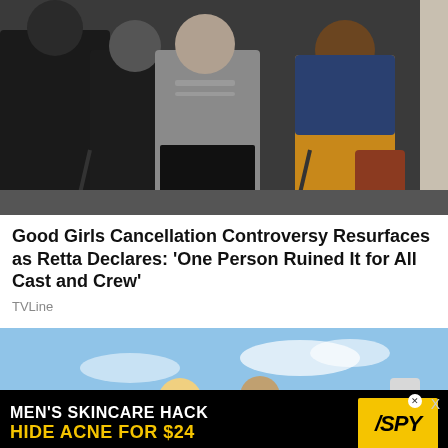[Figure (photo): Three people standing indoors, two wearing dark clothing and one in a grey button-up shirt, another in yellow top with denim jacket]
Good Girls Cancellation Controversy Resurfaces as Retta Declares: 'One Person Ruined It for All Cast and Crew'
TVLine
[Figure (photo): A blonde woman and a man in sunglasses posing near a private jet against a blue sky]
[Figure (other): Advertisement banner: MEN'S SKINCARE HACK HIDE ACNE FOR $24 SPY]